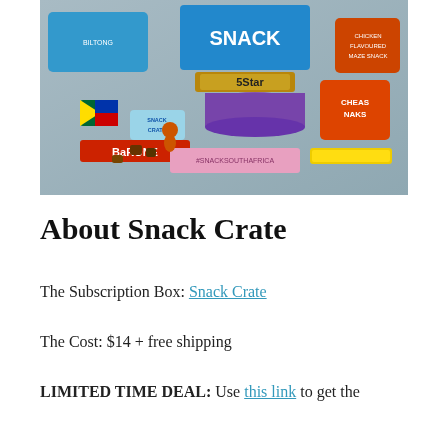[Figure (photo): A flat-lay photo of a Snack Crate subscription box opened to reveal various South African snack products including 5Star chocolate bars, Cheas Naks, chicken-flavoured snacks, stickers with the South African flag and a rooster, a Barone bar, and other snack items arranged on a grey surface with the hashtag #SNACKSOUTHAFRICA visible.]
About Snack Crate
The Subscription Box: Snack Crate
The Cost: $14 + free shipping
LIMITED TIME DEAL: Use this link to get the